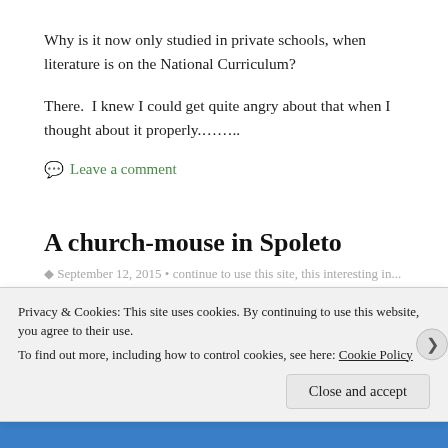Why is it now only studied in private schools, when literature is on the National Curriculum?
There.  I knew I could get quite angry about that when I thought about it properly……..
💬 Leave a comment
A church-mouse in Spoleto
Privacy & Cookies: This site uses cookies. By continuing to use this website, you agree to their use. To find out more, including how to control cookies, see here: Cookie Policy
Close and accept